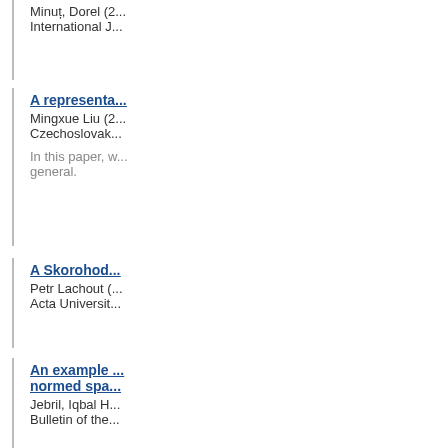Minuț, Dorel (2...)
International J...
A representa...
Mingxue Liu (2...)
Czechoslovak...
In this paper, w...
general.
A Skorohod...
Petr Lachout (...)
Acta Universit...
An example ...
normed spa...
Jebril, Iqbal H...
Bulletin of the...
Approximati...
Goleț, Ioan (2...)
Novi Sad Jour...
Bounded lin...
Jebril, Iqbal H...